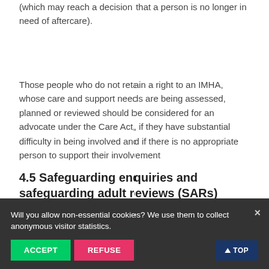(which may reach a decision that a person is no longer in need of aftercare).
Those people who do not retain a right to an IMHA, whose care and support needs are being assessed, planned or reviewed should be considered for an advocate under the Care Act, if they have substantial difficulty in being involved and if there is no appropriate person to support their involvement
4.5 Safeguarding enquiries and safeguarding adult reviews (SARs)
The local authority must arrange for an independent advocate to represent and support an adult who is the subject of a safeguarding enquiry or a safeguarding adult review, where, without independent